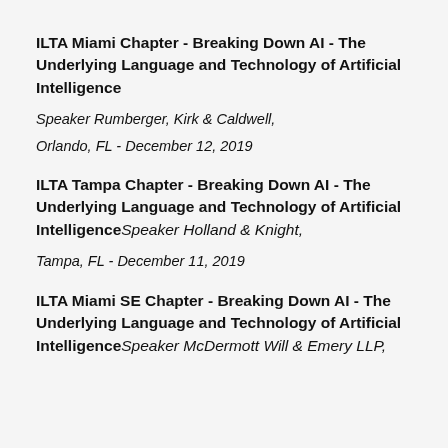ILTA Miami Chapter - Breaking Down AI - The Underlying Language and Technology of Artificial Intelligence
Speaker Rumberger, Kirk & Caldwell,
Orlando, FL - December 12, 2019
ILTA Tampa Chapter - Breaking Down AI - The Underlying Language and Technology of Artificial Intelligence
Speaker Holland & Knight,
Tampa, FL - December 11, 2019
ILTA Miami SE Chapter - Breaking Down AI - The Underlying Language and Technology of Artificial Intelligence
Speaker McDermott Will & Emery LLP,